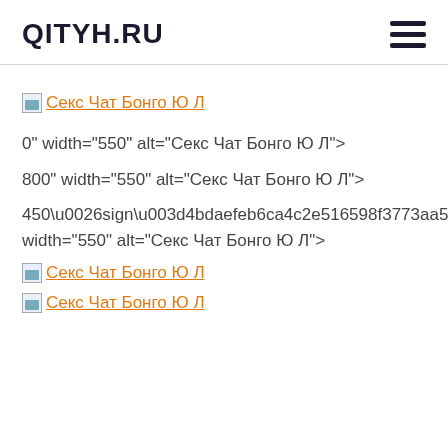QITYH.RU
Секс Чат Бонго Ю Л
0" width="550" alt="Секс Чат Бонго Ю Л">
800" width="550" alt="Секс Чат Бонго Ю Л">
450\u0026sign\u003d4bdaefeb6ca4c2e516598f3773aa538a width="550" alt="Секс Чат Бонго Ю Л">
Секс Чат Бонго Ю Л
Секс Чат Бонго Ю Л